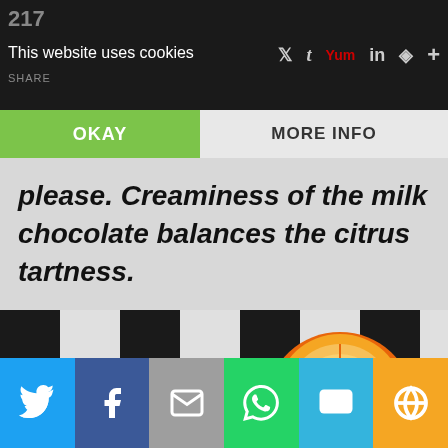217 SHARE — This website uses cookies
OKAY | MORE INFO
please. Creaminess of the milk chocolate balances the citrus tartness.
[Figure (photo): Chocolate chip scones stacked on a black and white striped plate with an orange half and scattered chocolate chips]
Share buttons: Twitter, Facebook, Email, WhatsApp, SMS, More